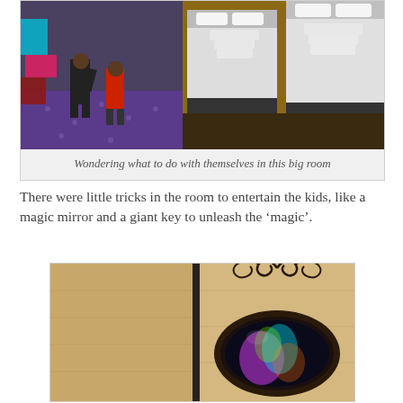[Figure (photo): Two children standing in a hotel room with purple patterned carpet and two white-bedded beds visible. The kids appear to be exploring the room.]
Wondering what to do with themselves in this big room
There were little tricks in the room to entertain the kids, like a magic mirror and a giant key to unleash the ‘magic’.
[Figure (photo): A magic mirror with decorative dark frame and swirling ornamental top, mounted on a wall. The mirror shows a colorful glow/reflection inside.]